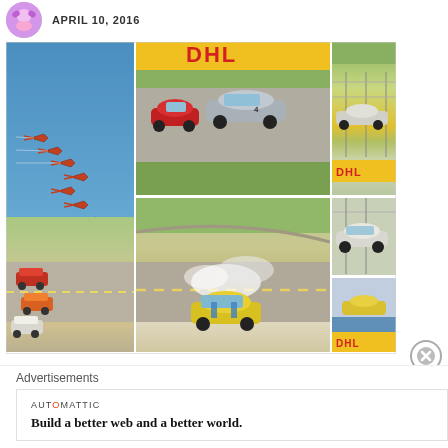APRIL 10, 2016
[Figure (photo): Photo collage of motorsport and airshow: jets flying in formation (blue sky), vintage racing cars on track with DHL banners (red and silver cars), right column shows classic white race car and another race car with DHL banners, middle bottom shows track curve, bottom center shows yellow Camaro doing burnout with smoke, bottom left shows group of racing cars on track.]
Advertisements
AUTOMATTIC
Build a better web and a better world.